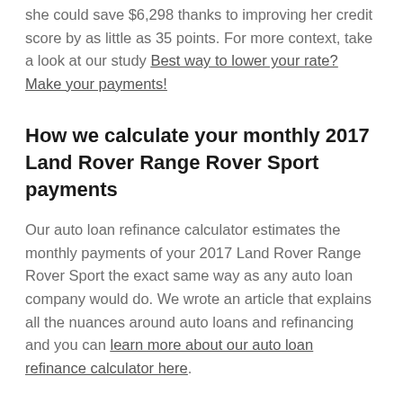she could save $6,298 thanks to improving her credit score by as little as 35 points. For more context, take a look at our study Best way to lower your rate? Make your payments!
How we calculate your monthly 2017 Land Rover Range Rover Sport payments
Our auto loan refinance calculator estimates the monthly payments of your 2017 Land Rover Range Rover Sport the exact same way as any auto loan company would do. We wrote an article that explains all the nuances around auto loans and refinancing and you can learn more about our auto loan refinance calculator here.